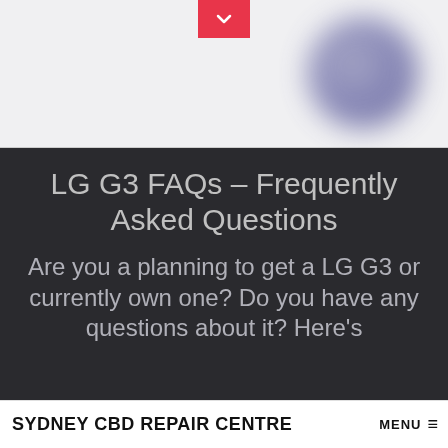[Figure (screenshot): Top header area with a pink/red chevron down button centered at the top and a blurred dark purple/blue circle element in the upper right corner, set against a light gray background.]
LG G3 FAQs – Frequently Asked Questions
Are you a planning to get a LG G3 or currently own one? Do you have any questions about it? Here's
SYDNEY CBD REPAIR CENTRE MENU ≡